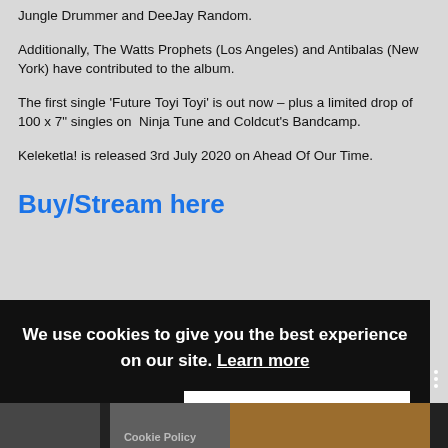Jungle Drummer and DeeJay Random.
Additionally, The Watts Prophets (Los Angeles) and Antibalas (New York) have contributed to the album.
The first single 'Future Toyi Toyi' is out now – plus a limited drop of 100 x 7" singles on  Ninja Tune and Coldcut's Bandcamp.
Keleketla! is released 3rd July 2020 on Ahead Of Our Time.
Buy/Stream here
We use cookies to give you the best experience on our site. Learn more
No thanks
Ok